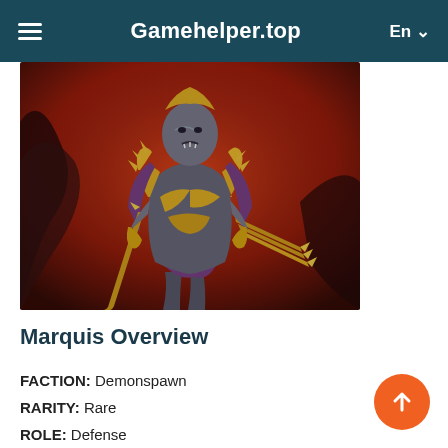Gamehelder.top  En
[Figure (photo): A fantasy game character (Marquis) wearing ornate gold and dark armor, holding spiked weapons, set against a fiery red background.]
Marquis Overview
FACTION: Demonspawn
RARITY: Rare
ROLE: Defense
AFFINITY: Void